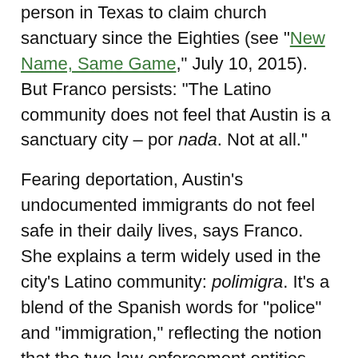person in Texas to claim church sanctuary since the Eighties (see "New Name, Same Game," July 10, 2015). But Franco persists: "The Latino community does not feel that Austin is a sanctuary city – por nada. Not at all."
Fearing deportation, Austin's undocumented immigrants do not feel safe in their daily lives, says Franco. She explains a term widely used in the city's Latino community: polimigra. It's a blend of the Spanish words for "police" and "immigration," reflecting the notion that the two law enforcement entities – one local, one federal – are, in fact, one and the same.
That perception has roots in reality, says Franco. Greg Hamilton, Hernandez's predecessor, who served as sheriff from 2005 through 2016, made no bones about his willingness to work with ICE, the deportation arm of the Department of Homeland Security (DHS). Under its Priority Enforcement Program (PEP), which in 2015 succeeded the